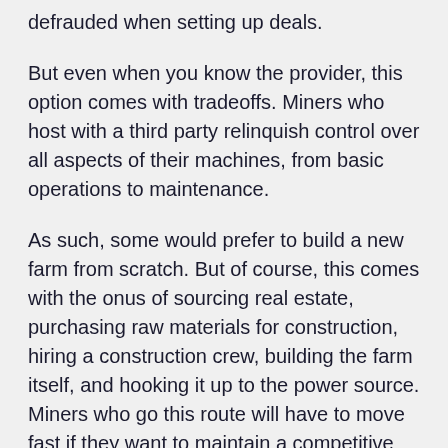defrauded when setting up deals.
But even when you know the provider, this option comes with tradeoffs. Miners who host with a third party relinquish control over all aspects of their machines, from basic operations to maintenance.
As such, some would prefer to build a new farm from scratch. But of course, this comes with the onus of sourcing real estate, purchasing raw materials for construction, hiring a construction crew, building the farm itself, and hooking it up to the power source. Miners who go this route will have to move fast if they want to maintain a competitive edge, but they also risk overbuilding